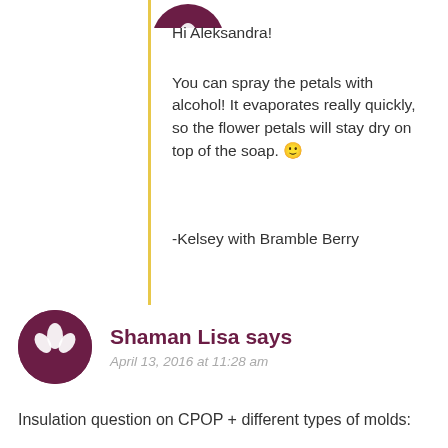[Figure (illustration): Partial view of a dark purple circular avatar at the top of the page, cropped]
Hi Aleksandra!
You can spray the petals with alcohol! It evaporates really quickly, so the flower petals will stay dry on top of the soap. 🙂
-Kelsey with Bramble Berry
[Figure (illustration): Dark purple circular avatar with a white lotus/plant icon in the center]
Shaman Lisa says
April 13, 2016 at 11:28 am
Insulation question on CPOP + different types of molds: